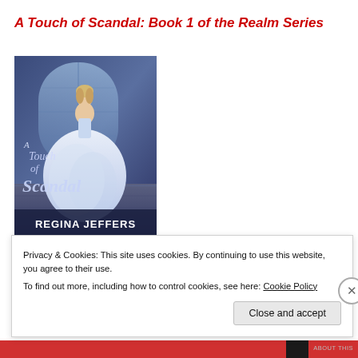A Touch of Scandal: Book 1 of the Realm Series
[Figure (photo): Book cover of 'A Touch of Scandal' by Regina Jeffers, showing a woman in a large white ballgown standing in a grand room with arched windows, blue atmospheric lighting]
Privacy & Cookies: This site uses cookies. By continuing to use this website, you agree to their use.
To find out more, including how to control cookies, see here: Cookie Policy
Close and accept